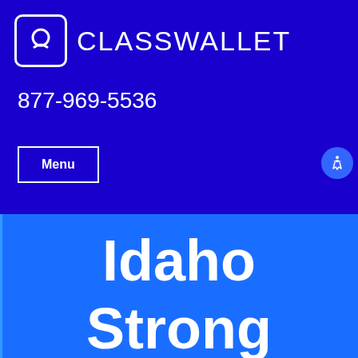[Figure (logo): ClassWallet logo with wallet icon in white square border and CLASSWALLET text in white on dark blue background]
877-969-5536
Menu
Idaho Strong